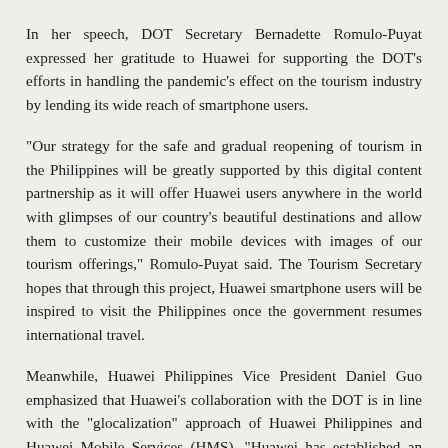In her speech, DOT Secretary Bernadette Romulo-Puyat expressed her gratitude to Huawei for supporting the DOT's efforts in handling the pandemic's effect on the tourism industry by lending its wide reach of smartphone users.
"Our strategy for the safe and gradual reopening of tourism in the Philippines will be greatly supported by this digital content partnership as it will offer Huawei users anywhere in the world with glimpses of our country's beautiful destinations and allow them to customize their mobile devices with images of our tourism offerings," Romulo-Puyat said. The Tourism Secretary hopes that through this project, Huawei smartphone users will be inspired to visit the Philippines once the government resumes international travel.
Meanwhile, Huawei Philippines Vice President Daniel Guo emphasized that Huawei's collaboration with the DOT is in line with the "glocalization" approach of Huawei Philippines and Huawei Mobile Services (HMS). "Huawei has established an extensive cooperation with the government, local businesses and communities, to continuously bring innovative digital services to consumers and create greater social values," he said.